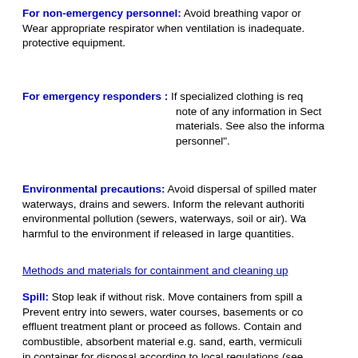For non-emergency personnel: Avoid breathing vapor or mist. Wear appropriate respirator when ventilation is inadequate. protective equipment.
For emergency responders : If specialized clothing is required. note of any information in Section... materials. See also the information... personnel".
Environmental precautions: Avoid dispersal of spilled material, waterways, drains and sewers. Inform the relevant authorities of environmental pollution (sewers, waterways, soil or air). Wa... harmful to the environment if released in large quantities.
Methods and materials for containment and cleaning up
Spill: Stop leak if without risk. Move containers from spill area. Prevent entry into sewers, water courses, basements or co... effluent treatment plant or proceed as follows. Contain and... combustible, absorbent material e.g. sand, earth, vermiculi... in container for disposal according to local regulations (see...